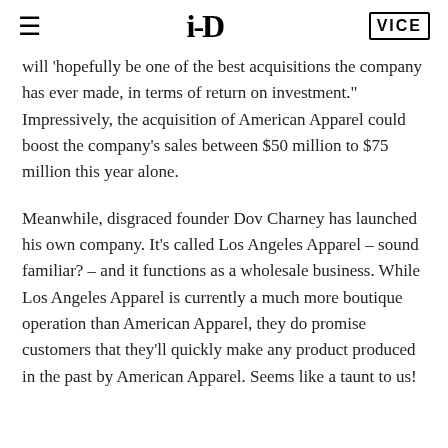≡  i-D  VICE
will 'hopefully be one of the best acquisitions the company has ever made, in terms of return on investment." Impressively, the acquisition of American Apparel could boost the company's sales between $50 million to $75 million this year alone.
Meanwhile, disgraced founder Dov Charney has launched his own company. It's called Los Angeles Apparel – sound familiar? – and it functions as a wholesale business. While Los Angeles Apparel is currently a much more boutique operation than American Apparel, they do promise customers that they'll quickly make any product produced in the past by American Apparel. Seems like a taunt to us!